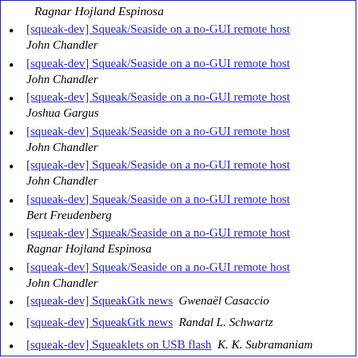Ragnar Hojland Espinosa
[squeak-dev] Squeak/Seaside on a no-GUI remote host   John Chandler
[squeak-dev] Squeak/Seaside on a no-GUI remote host   John Chandler
[squeak-dev] Squeak/Seaside on a no-GUI remote host   Joshua Gargus
[squeak-dev] Squeak/Seaside on a no-GUI remote host   John Chandler
[squeak-dev] Squeak/Seaside on a no-GUI remote host   John Chandler
[squeak-dev] Squeak/Seaside on a no-GUI remote host   Bert Freudenberg
[squeak-dev] Squeak/Seaside on a no-GUI remote host   Ragnar Hojland Espinosa
[squeak-dev] Squeak/Seaside on a no-GUI remote host   John Chandler
[squeak-dev] SqueakGtk news   Gwenaël Casaccio
[squeak-dev] SqueakGtk news   Randal L. Schwartz
[squeak-dev] Squeaklets on USB flash   K. K. Subramaniam
[squeak-dev] Stephen Pair?   Ken Causey
[squeak-dev] Stephen Pair?   David Pennell
[squeak-dev] Stephen Pair?   Ken Causey
[squeak-dev] Subcanvas   Michael van der Gulik